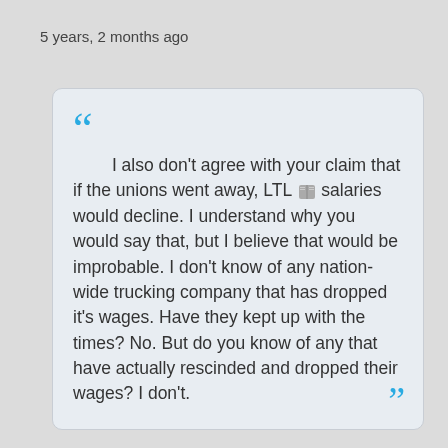5 years, 2 months ago
I also don't agree with your claim that if the unions went away, LTL salaries would decline. I understand why you would say that, but I believe that would be improbable. I don't know of any nation-wide trucking company that has dropped it's wages. Have they kept up with the times? No. But do you know of any that have actually rescinded and dropped their wages? I don't.